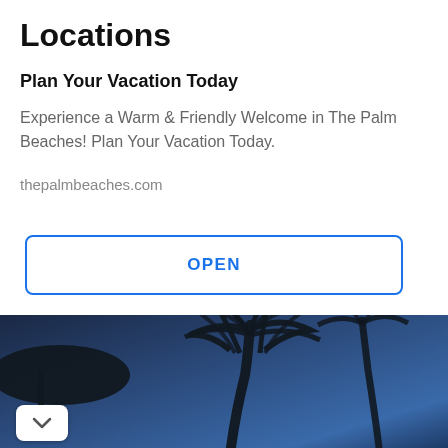Locations
Plan Your Vacation Today
Experience a Warm & Friendly Welcome in The Palm Beaches! Plan Your Vacation Today.
thepalmbeaches.com
OPEN
[Figure (photo): Dark blue twilight sky with palm tree silhouette]
[Figure (other): Advertisement: Walgreens Photo - Stay Safe, Save On Sun Care]